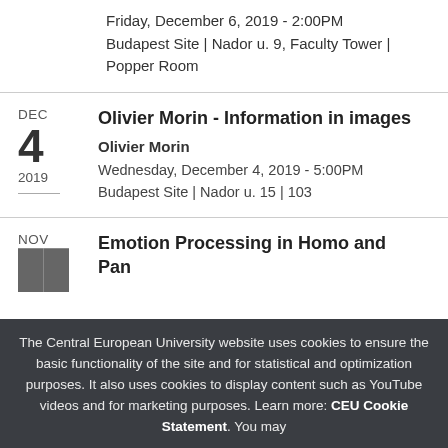Friday, December 6, 2019 - 2:00PM
Budapest Site | Nador u. 9, Faculty Tower | Popper Room
Olivier Morin - Information in images
Olivier Morin
Wednesday, December 4, 2019 - 5:00PM
Budapest Site | Nador u. 15 | 103
Emotion Processing in Homo and Pan
The Central European University website uses cookies to ensure the basic functionality of the site and for statistical and optimization purposes. It also uses cookies to display content such as YouTube videos and for marketing purposes. Learn more: CEU Cookie Statement. You may